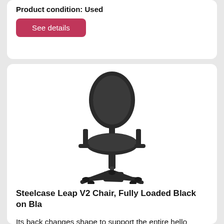Product condition: Used
See details
[Figure (photo): Black Steelcase Leap V2 ergonomic office chair on a white background, viewed from a front-angle perspective showing the mesh back, seat, armrests, and five-star base with casters.]
Steelcase Leap V2 Chair, Fully Loaded Black on Bla
Its back changes shape to support the entire hello bidders, check out this new steelcase leap v2 chair, fully . this is a steelcase leap v2 chair, fully in very good